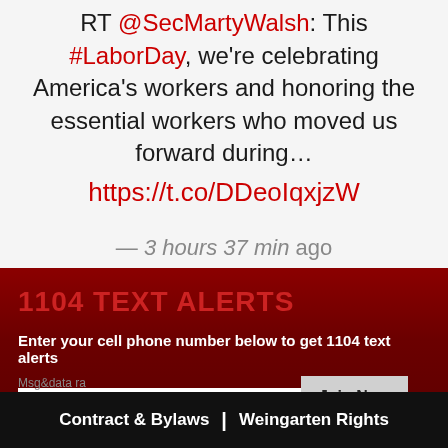RT @SecMartyWalsh: This #LaborDay, we're celebrating America's workers and honoring the essential workers who moved us forward during… https://t.co/DDeoIqxjzW
— 3 hours 37 min ago
1104 TEXT ALERTS
Enter your cell phone number below to get 1104 text alerts
(e.g. 2223334444 no dots)  Join Now
Contract & Bylaws | Weingarten Rights